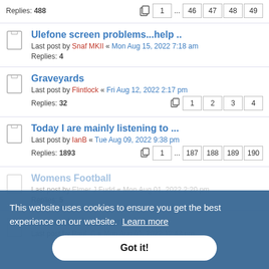Replies: 488
Ulefone screen problems...help ..
Last post by Snaf MKII « Mon Aug 15, 2022 7:18 am
Replies: 4
Graveyards
Last post by Flintlock « Fri Aug 12, 2022 2:17 pm
Replies: 32
Today I are mainly listening to ...
Last post by IanB « Tue Aug 09, 2022 9:38 pm
Replies: 1893
Womens Football
Last post by Elmer J Fudd « Mon Aug 01, 2022 2:20 pm
Replies: 5
Pacemaker's owners club
Last post by Paul_C « Mon Aug 01, 2022 12:43 pm
This website uses cookies to ensure you get the best experience on our website. Learn more
Got it!